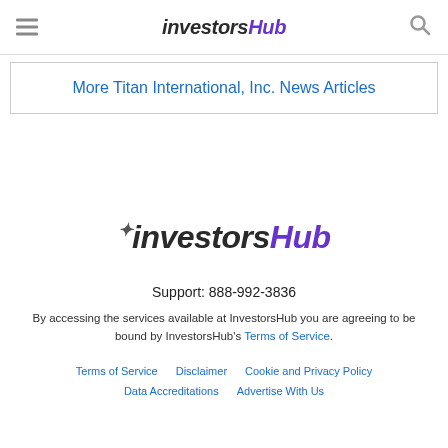InvestorsHub
More Titan International, Inc. News Articles
[Figure (logo): InvestorsHub logo with stylized sprout icon above the 'i', 'investors' in dark and 'Hub' in purple italic text]
Support: 888-992-3836
By accessing the services available at InvestorsHub you are agreeing to be bound by InvestorsHub's Terms of Service.
Terms of Service   Disclaimer   Cookie and Privacy Policy   Data Accreditations   Advertise With Us